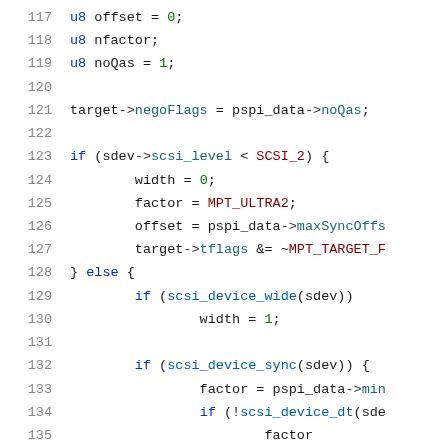[Figure (screenshot): Source code listing, lines 117-137, showing C code for SCSI device negotiation logic with syntax highlighting. Line numbers in gray on left, keywords in blue, numeric literals in green, member access in teal.]